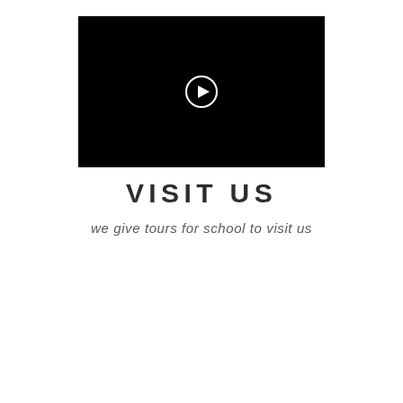[Figure (screenshot): Black video player thumbnail with a white circular play button icon in the center]
VISIT US
we give tours for school to visit us